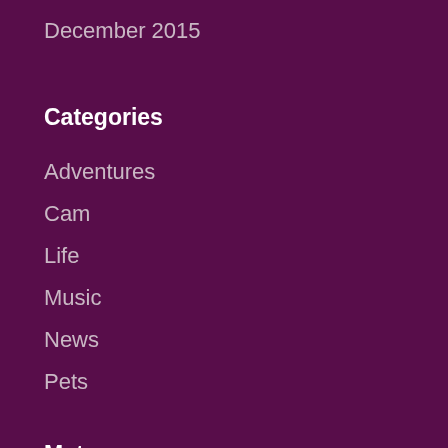December 2015
Categories
Adventures
Cam
Life
Music
News
Pets
Meta
Register
Log in